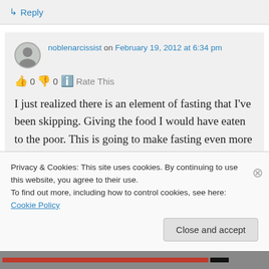↳ Reply
noblenarcissist on February 19, 2012 at 6:34 pm
👍 0 👎 0 ℹ Rate This
I just realized there is an element of fasting that I've been skipping. Giving the food I would have eaten to the poor. This is going to make fasting even more rewarding
Privacy & Cookies: This site uses cookies. By continuing to use this website, you agree to their use.
To find out more, including how to control cookies, see here: Cookie Policy
Close and accept